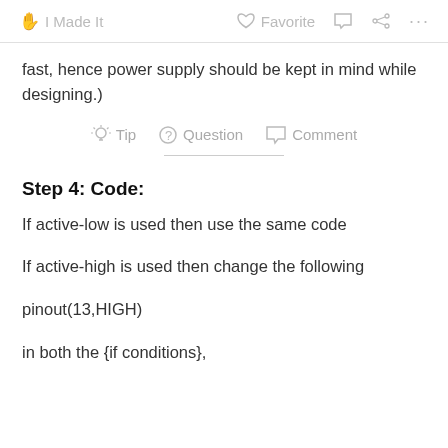I Made It  Favorite  Comment  Share  ...
fast, hence power supply should be kept in mind while designing.)
Tip  Question  Comment
Step 4: Code:
If active-low is used then use the same code
If active-high is used then change the following
pinout(13,HIGH)
in both the {if conditions},